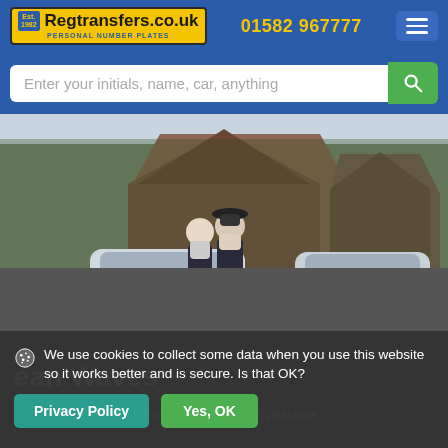Regtransfers.co.uk | PERSONAL NUMBER PLATES | 01582 967777
Enter your initials, name, car, anything
[Figure (photo): Elderly couple standing between two silver cars with personalised number plates K11 GBB and GBB 1K, in front of a brick house with ivy, outdoors.]
We use cookies to collect some data when you use this website so it works better and is secure. Is that OK?
Privacy Policy   Yes, OK
ean Waves
Commodore Ian Gibb, from Marlborough in Wiltshire,